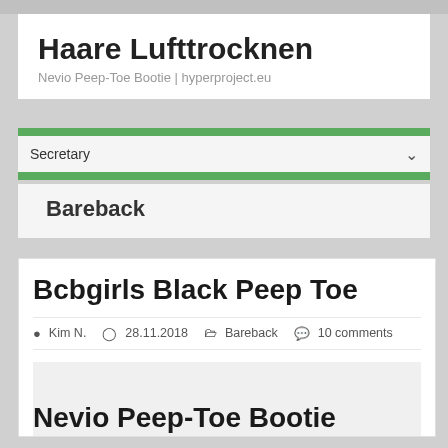Haare Lufttrocknen
Nevio Peep-Toe Bootie | hyperproject.eu
Secretary
Bareback
Bcbgirls Black Peep Toe
Kim N.  28.11.2018  Bareback  10 comments
Nevio Peep-Toe Bootie